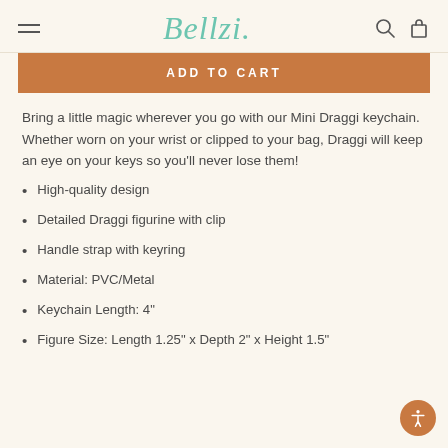Bellzi
ADD TO CART
Bring a little magic wherever you go with our Mini Draggi keychain. Whether worn on your wrist or clipped to your bag, Draggi will keep an eye on your keys so you'll never lose them!
High-quality design
Detailed Draggi figurine with clip
Handle strap with keyring
Material: PVC/Metal
Keychain Length: 4"
Figure Size: Length 1.25" x Depth 2" x Height 1.5"